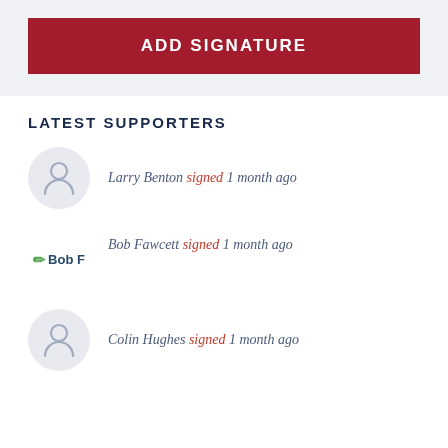ADD SIGNATURE
LATEST SUPPORTERS
Larry Benton signed 1 month ago
Bob Fawcett signed 1 month ago
Colin Hughes signed 1 month ago